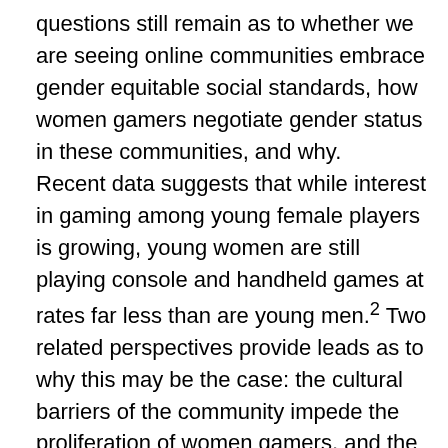questions still remain as to whether we are seeing online communities embrace gender equitable social standards, how women gamers negotiate gender status in these communities, and why.
Recent data suggests that while interest in gaming among young female players is growing, young women are still playing console and handheld games at rates far less than are young men.2 Two related perspectives provide leads as to why this may be the case: the cultural barriers of the community impede the proliferation of women gamers, and the enabling or constraining effect of gender categories that women adopt as gamers. With regard to the first suggestion, recent news coverage has demonstrated that many online contexts can enable sexism towards women not unlike that faced by women in many face-to-face contexts.3 One important example